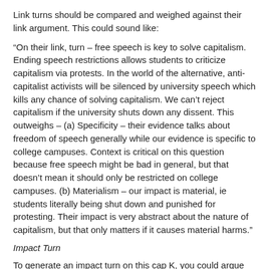Link turns should be compared and weighed against their link argument. This could sound like:
“On their link, turn – free speech is key to solve capitalism. Ending speech restrictions allows students to criticize capitalism via protests. In the world of the alternative, anti-capitalist activists will be silenced by university speech which kills any chance of solving capitalism. We can’t reject capitalism if the university shuts down any dissent. This outweighs – (a) Specificity – their evidence talks about freedom of speech generally while our evidence is specific to college campuses. Context is critical on this question because free speech might be bad in general, but that doesn’t mean it should only be restricted on college campuses. (b) Materialism – our impact is material, ie students literally being shut down and punished for protesting. Their impact is very abstract about the nature of capitalism, but that only matters if it causes material harms.”
Impact Turn
To generate an impact turn on this cap K, you could argue why capitalism is actually good. This would sound something like:
“Turn – capitalism is good. Empirics prove that capitalism increases quality of life by incentivizing technological advantages. [Insert X card].